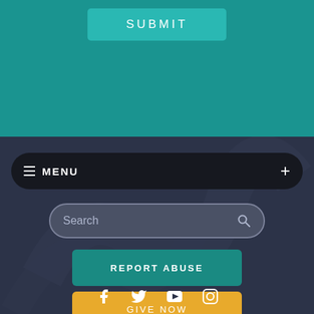[Figure (screenshot): SUBMIT button on teal background at top of page]
SUBMIT
[Figure (screenshot): Dark navigation menu bar with hamburger icon, MENU text, and plus button]
MENU
[Figure (screenshot): Search input field with search icon on dark background]
Search
REPORT ABUSE
GIVE NOW
[Figure (infographic): Social media icons: Facebook, Twitter, YouTube, Instagram]